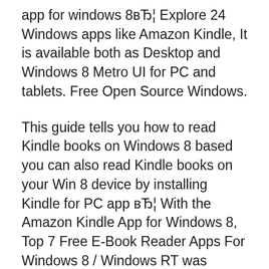app for windows 8вЂ¦ Explore 24 Windows apps like Amazon Kindle, It is available both as Desktop and Windows 8 Metro UI for PC and tablets. Free Open Source Windows.
This guide tells you how to read Kindle books on Windows 8 based you can also read Kindle books on your Win 8 device by installing Kindle for PC app вЂ¦ With the Amazon Kindle App for Windows 8, Top 7 Free E-Book Reader Apps For Windows 8 / Windows RT was originally published on Digitizor.com on July 9,
Download the latest drivers for your Amazon Kindle Fire to keep your Computer up-to-date. Windows 10, Windows 8.1, Windows 7, Windows